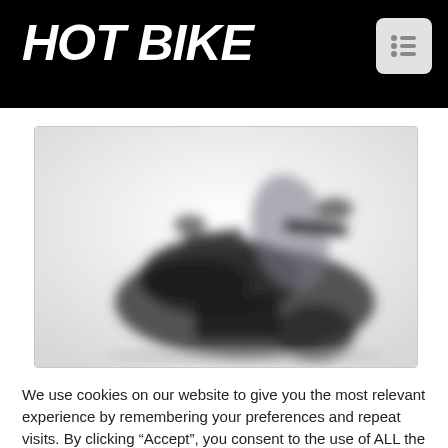HOT BIKE
[Figure (photo): Blurred black and white photograph of a motorcycle, showing handlebars, windshield, and front body against a light background]
We use cookies on our website to give you the most relevant experience by remembering your preferences and repeat visits. By clicking “Accept”, you consent to the use of ALL the cookies.
Do not sell my personal information.
Cookie Settings
Accept